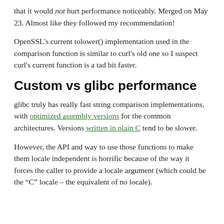that it would not hurt performance noticeably. Merged on May 23. Almost like they followed my recommendation!
OpenSSL's current tolower() implementation used in the comparison function is similar to curl's old one so I suspect curl's current function is a tad bit faster.
Custom vs glibc performance
glibc truly has really fast string comparison implementations, with optimized assembly versions for the common architectures. Versions written in plain C tend to be slower.
However, the API and way to use those functions to make them locale independent is horrific because of the way it forces the caller to provide a locale argument (which could be the “C” locale – the equivalent of no locale).